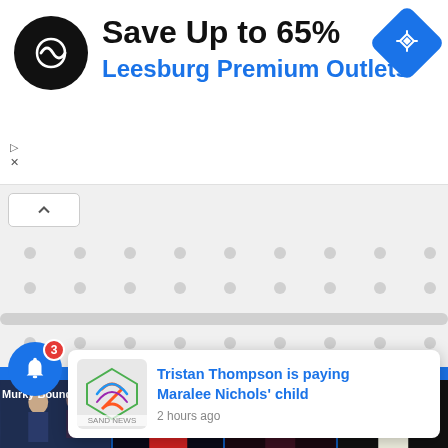[Figure (screenshot): Advertisement banner: black circular logo with infinity-like symbol, text 'Save Up to 65%' in black bold, 'Leesburg Premium Outlets' in blue bold, blue diamond navigation icon on right]
[Figure (screenshot): App UI skeleton loading area with collapse arrow button, dot grid pattern on grey background]
[Figure (screenshot): Four manga/comic cover thumbnails in a row: Murky Boundaries, I'm the Soldier's, Hard-Boiled Love, How to Shag]
Murky Boundaries
I'm the Soldier's
Hard-Boiled Love
How to Shag
[Figure (screenshot): News notification popup with colorful S logo icon, headline 'Tristan Thompson is paying Maralee Nichols' child' in blue, '2 hours ago' in grey, source label 'SAND NEWS']
[Figure (screenshot): Blue circular bell notification button with red badge showing number 3]